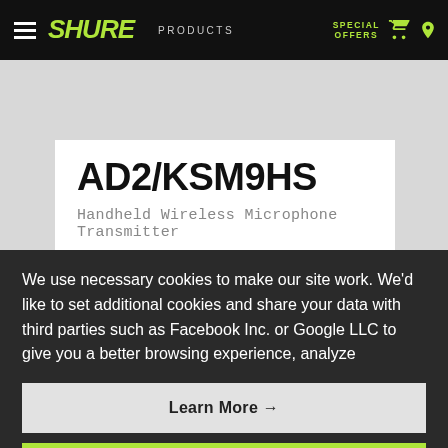SHURE | PRODUCTS | SPECIAL OFFERS
AD2/KSM9HS
Handheld Wireless Microphone Transmitter
We use necessary cookies to make our site work. We'd like to set additional cookies and share your data with third parties such as Facebook Inc. or Google LLC to give you a better browsing experience, analyze
Learn More →
Agree and close